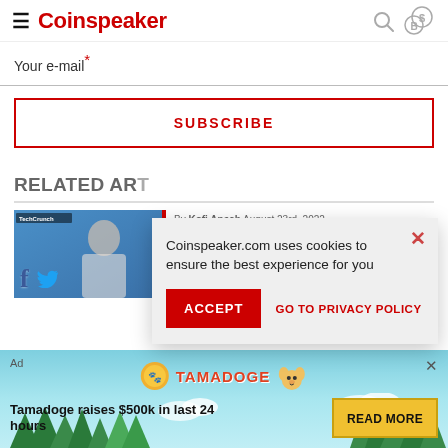Coinspeaker
Your e-mail *
SUBSCRIBE
RELATED ARTICLES
[Figure (screenshot): Article thumbnail with TechCrunch branding, Facebook and Twitter social icons, and a person in the background]
By Kofi Ansah August 23rd, 2022
[Figure (infographic): Cookie consent dialog: 'Coinspeaker.com uses cookies to ensure the best experience for you' with ACCEPT and GO TO PRIVACY POLICY buttons]
[Figure (infographic): Ad banner for Tamadoge: 'Tamadoge raises $500k in last 24 hours' with READ MORE button, featuring Tamadoge logo and dog mascot illustration]